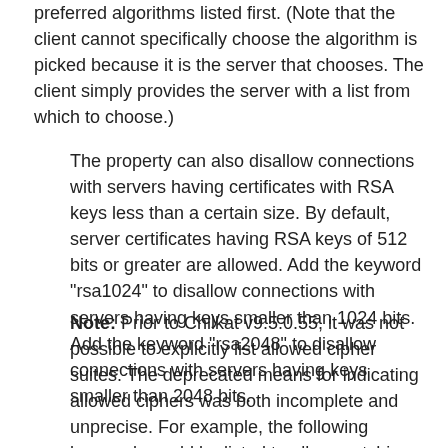preferred algorithms listed first. (Note that the client cannot specifically choose the algorithm is picked because it is the server that chooses. The client simply provides the server with a list from which to choose.)
The property can also disallow connections with servers having certificates with RSA keys less than a certain size. By default, server certificates having RSA keys of 512 bits or greater are allowed. Add the keyword "rsa1024" to disallow connections with servers having keys smaller than 1024 bits. Add the keyword "rsa2048" to disallow connections with servers having keys smaller than 2048 bits.
Note: Prior to Chilkat v9.5.0.55, it was not possible to explicitly list allowed cipher suites. The deprecated means for indicating allowed ciphers was both incomplete and unprecise. For example, the following keywords could be listed to allow matching ciphers: "aes256-cbc", "aes128-cbc", "3des-cbc", and "rc4".